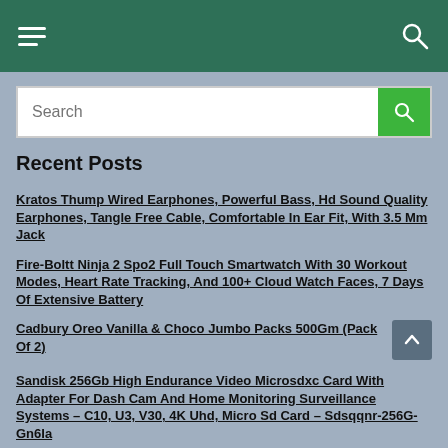Navigation header with hamburger menu and search icon
Search
Recent Posts
Kratos Thump Wired Earphones, Powerful Bass, Hd Sound Quality Earphones, Tangle Free Cable, Comfortable In Ear Fit, With 3.5 Mm Jack
Fire-Boltt Ninja 2 Spo2 Full Touch Smartwatch With 30 Workout Modes, Heart Rate Tracking, And 100+ Cloud Watch Faces, 7 Days Of Extensive Battery
Cadbury Oreo Vanilla & Choco Jumbo Packs 500Gm (Pack Of 2)
Sandisk 256Gb High Endurance Video Microsdxc Card With Adapter For Dash Cam And Home Monitoring Surveillance Systems – C10, U3, V30, 4K Uhd, Micro Sd Card – Sdsqqnr-256G-Gn6Ia
Cadbury Oreo Mega Family Pack Biscuit- Vanilla, 972G